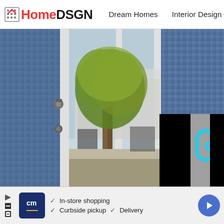HomeDSGN  Dream Homes  Interior Design  Hou
[Figure (photo): Exterior/interior architectural photo showing a modern home with glass bifold doors opening to a courtyard with a tree. Blue mosaic tile walls visible on the sides. A video play button overlay (cyan triangle with 'i' icon on grey background) appears in the lower center-right of the image.]
[Figure (other): Advertisement banner: CM logo (white cm text on dark blue background with yellow underline), checkmarks listing 'In-store shopping', 'Curbside pickup', 'Delivery', and a blue circular navigation arrow button on the right.]